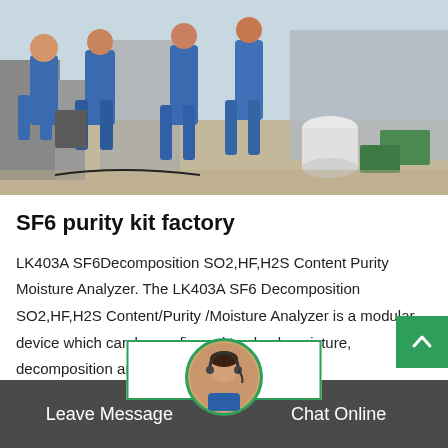[Figure (photo): Workers in blue coveralls at an industrial outdoor facility with equipment and green storage boxes]
SF6 purity kit factory
LK403A SF6Decomposition SO2,HF,H2S Content Purity Moisture Analyzer. The LK403A SF6 Decomposition SO2,HF,H2S Content/Purity /Moisture Analyzer is a modular device which can be configured to check moisture, decomposition and purity of SF6